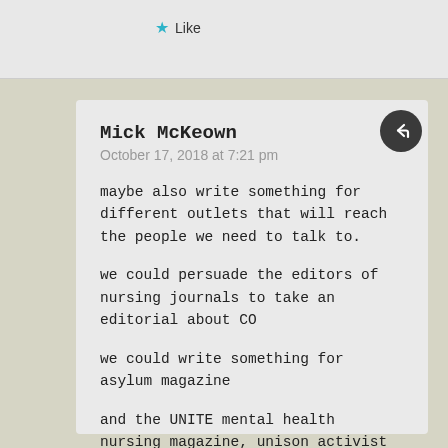Like
Mick McKeown
October 17, 2018 at 7:21 pm
maybe also write something for different outlets that will reach the people we need to talk to.

we could persuade the editors of nursing journals to take an editorial about CO

we could write something for asylum magazine

and the UNITE mental health nursing magazine, unison activist magazine etc
Liked by 1 person